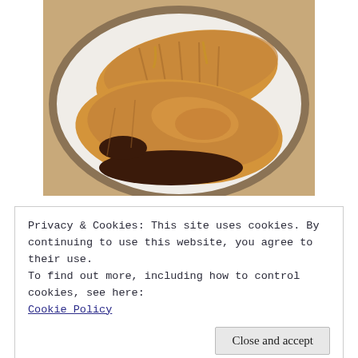[Figure (photo): Two croissants covered with a thick caramel or peanut butter glaze on a white plate with a brown rim. The front croissant is cut open revealing a dark chocolate filling.]
Privacy & Cookies: This site uses cookies. By continuing to use this website, you agree to their use.
To find out more, including how to control cookies, see here:
Cookie Policy
Close and accept